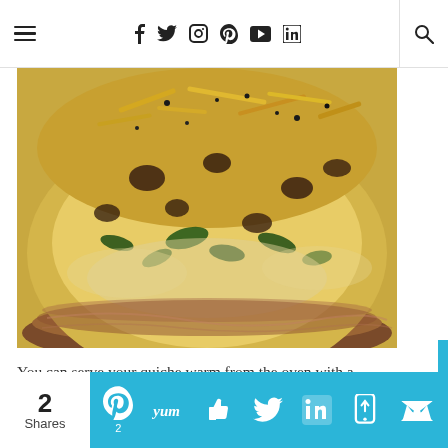Navigation header with hamburger menu, social icons (f, twitter, instagram, pinterest, youtube, linkedin), and search
[Figure (photo): Close-up photo of a quiche on a plate, showing egg filling with spinach, mushrooms, and shredded cheese on top with black pepper]
You can serve your quiche warm from the oven with a light and citrusy salad, or save it for breakfast and
2 Shares | Social share bar with Pinterest (2), Yummly, Facebook like, Twitter, LinkedIn, mobile share, email icons